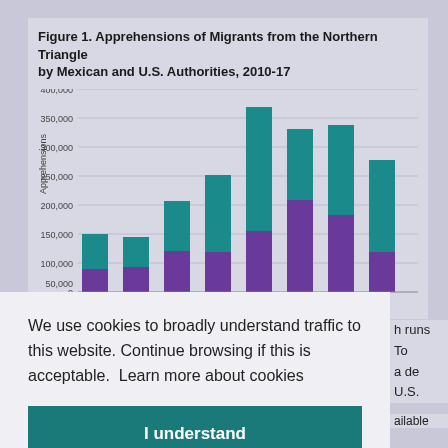[Figure (stacked-bar-chart): Figure 1. Apprehensions of Migrants from the Northern Triangle by Mexican and U.S. Authorities, 2010-17]
We use cookies to broadly understand traffic to this website. Continue browsing if this is acceptable.  Learn more about cookies
I understand
h runs To a de U.S.
online;
ailable
online.